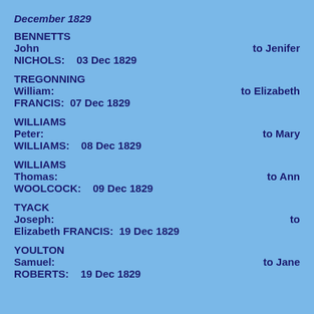December 1829
BENNETTS
John to Jenifer NICHOLS: 03 Dec 1829
TREGONNING
William: to Elizabeth FRANCIS: 07 Dec 1829
WILLIAMS
Peter: to Mary WILLIAMS: 08 Dec 1829
WILLIAMS
Thomas: to Ann WOOLCOCK: 09 Dec 1829
TYACK
Joseph: to Elizabeth FRANCIS: 19 Dec 1829
YOULTON
Samuel: to Jane ROBERTS: 19 Dec 1829